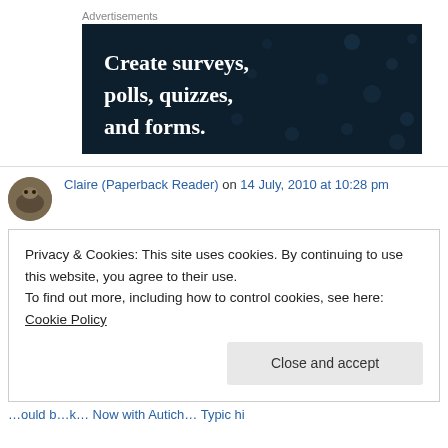Advertisements
[Figure (illustration): Dark navy blue advertisement banner with decorative dot pattern, white bold serif text reading: Create surveys, polls, quizzes, and forms.]
Claire (Paperback Reader) on 14 July, 2010 at 10:28 pm
Privacy & Cookies: This site uses cookies. By continuing to use this website, you agree to their use.
To find out more, including how to control cookies, see here: Cookie Policy
Close and accept